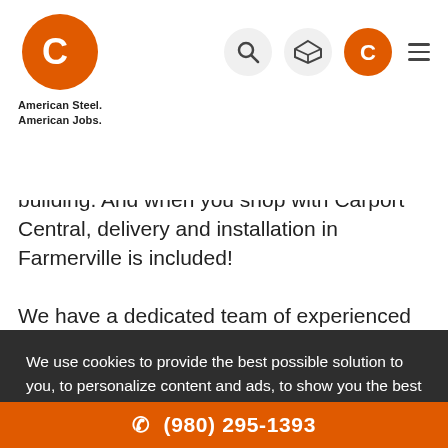Carport Central — American Steel. American Jobs.
building. And when you shop with Carport Central, delivery and installation in Farmerville is included!
We have a dedicated team of experienced building specialists available to walk you through every step. Carport Central is the top volume online carport dealer in America, but we didn't reach this level of business by
We use cookies to provide the best possible solution to you, to personalize content and ads, to show you the best products or services you're looking for. For more details visit Privacy Policy.
OK, THANKS
Carport Central offers a vast range of metal carports and
(980) 295-1393